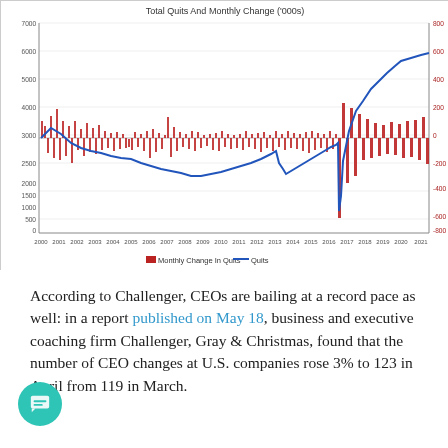[Figure (continuous-plot): Dual-axis chart showing Total Quits (blue line, left axis in thousands) and Monthly Change in Quits (red bars, right axis in thousands) from 2000 to 2021. The blue line shows quits falling from ~3000 in 2000 to ~1500 in 2009, then rising sharply to ~6000 by 2021. Red bars show monthly changes, with a large negative spike around 2020 (near -1000) and large positive spikes around 2020-2021.]
According to Challenger, CEOs are bailing at a record pace as well: in a report published on May 18, business and executive coaching firm Challenger, Gray & Christmas, found that the number of CEO changes at U.S. companies rose 3% to 123 in April from 119 in March.